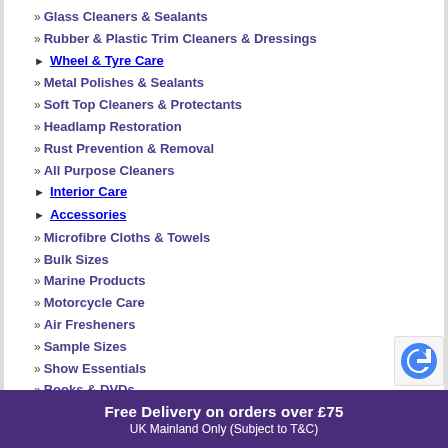» Glass Cleaners & Sealants
» Rubber & Plastic Trim Cleaners & Dressings
► Wheel & Tyre Care
» Metal Polishes & Sealants
» Soft Top Cleaners & Protectants
» Headlamp Restoration
» Rust Prevention & Removal
» All Purpose Cleaners
► Interior Care
► Accessories
» Microfibre Cloths & Towels
» Bulk Sizes
» Marine Products
» Motorcycle Care
» Air Fresheners
» Sample Sizes
» Show Essentials
» Books & DVDs
» Merchandise & Branded Goods
Free Delivery on orders over £75
UK Mainland Only (Subject to T&C)